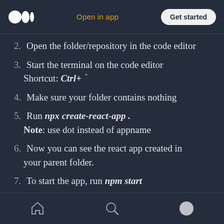Medium logo | Open in app | Get started
2. Open the folder/repository in the code editor
3. Start the terminal on the code editor Shortcut: Ctrl+ `
4. Make sure your folder contains nothing
5. Run npx create-react-app . Note: use dot instead of appname
6. Now you can see the react app created in your parent folder.
7. To start the app, run npm start
Home | Search | Profile